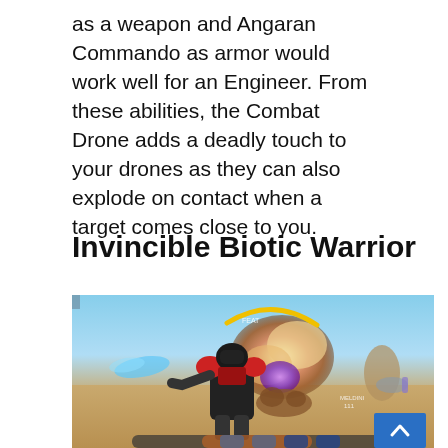as a weapon and Angaran Commando as armor would work well for an Engineer. From these abilities, the Combat Drone adds a deadly touch to your drones as they can also explode on contact when a target comes close to you.
Invincible Biotic Warrior
[Figure (screenshot): In-game screenshot from Mass Effect Andromeda showing a character in red and black armor firing at an enemy creature with an explosion effect, set in a desert landscape with blue sky. A yellow arc biotic ability is visible, and a blue scroll-to-top button is overlaid in the bottom right corner.]